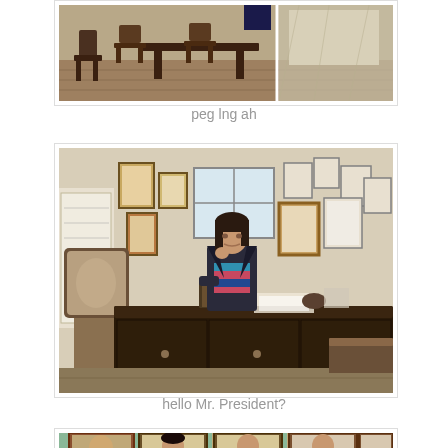[Figure (photo): Partially visible photo of a room with wooden chairs and tables, dark wood furniture on a light floor.]
peg lng ah
[Figure (photo): A woman standing behind a large dark wooden desk in an old office room. Many framed certificates and pictures hang on the walls. An ornate wooden chair is visible to the left.]
hello Mr. President?
[Figure (photo): Partially visible row of framed portrait paintings hanging on a light green wall.]